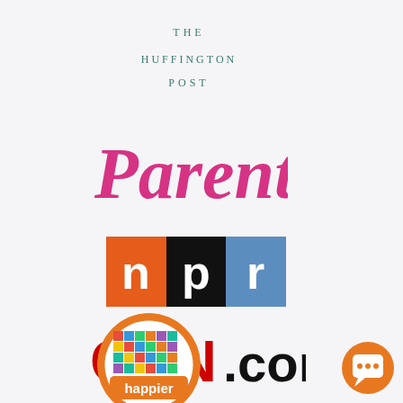[Figure (logo): The Huffington Post logo in teal/dark green serif all-caps text]
[Figure (logo): Parents magazine logo in hot pink serif italic font]
[Figure (logo): NPR logo with colored blocks: orange N, black P, blue R in white sans-serif]
[Figure (logo): CNN.com logo with red CNN letters and black .com]
[Figure (logo): Happier app logo: circular colorful mosaic with orange border and white text 'happier']
[Figure (logo): Orange circular chat/message button in bottom right corner]